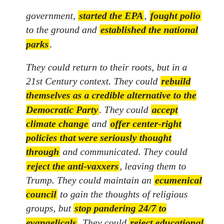government, started the EPA, fought polio to the ground and established the national parks.
They could return to their roots, but in a 21st Century context. They could rebuild themselves as a credible alternative to the Democratic Party. They could accept climate change and offer center-right policies that were seriously thought through and communicated. They could reject the anti-vaxxers, leaving them to Trump. They could maintain an ecumenical council to gain the thoughts of religious groups, but stop pandering 24/7 to evangelicals. They could reject educational